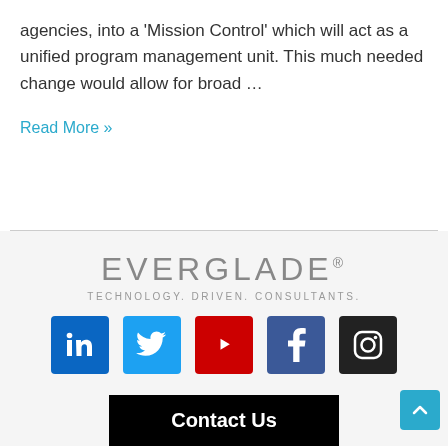agencies, into a 'Mission Control' which will act as a unified program management unit. This much needed change would allow for broad …
Read More »
[Figure (logo): Everglade Technology. Driven. Consultants. logo with social media icons (LinkedIn, Twitter, YouTube, Facebook, Instagram) and a Contact Us button]
Contact Us